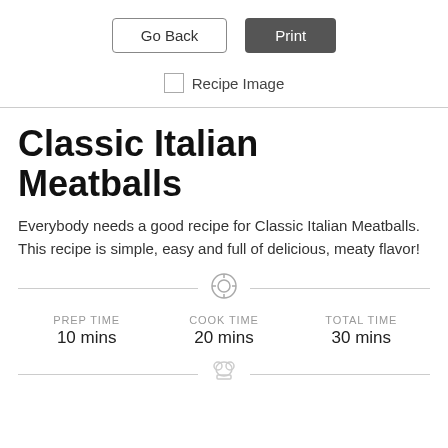Go Back | Print
Recipe Image
Classic Italian Meatballs
Everybody needs a good recipe for Classic Italian Meatballs. This recipe is simple, easy and full of delicious, meaty flavor!
PREP TIME 10 mins | COOK TIME 20 mins | TOTAL TIME 30 mins